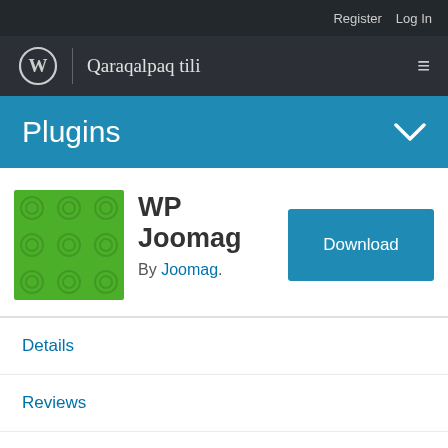Register  Log In
WP  |  Qaraqalpaq tili
Plugins
[Figure (illustration): Green square plugin icon with circular pattern]
WP Joomag
By Joomag.
Download
Details
Reviews
Installation
Support